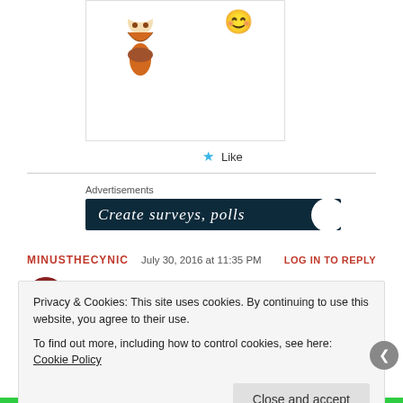[Figure (illustration): Chef character illustration with mixing bowl, and a smiley face emoji to the right]
★ Like
Advertisements
[Figure (screenshot): Dark navy blue advertisement banner with italic white text 'Create surveys, polls' and a white circle on the right side]
MINUSTHECYNIC   July 30, 2016 at 11:35 PM   LOG IN TO REPLY
[Figure (photo): Small circular user avatar photo with dark red/maroon color]
Thanks for your support. Please let me know if
Privacy & Cookies: This site uses cookies. By continuing to use this website, you agree to their use.
To find out more, including how to control cookies, see here: Cookie Policy
Close and accept